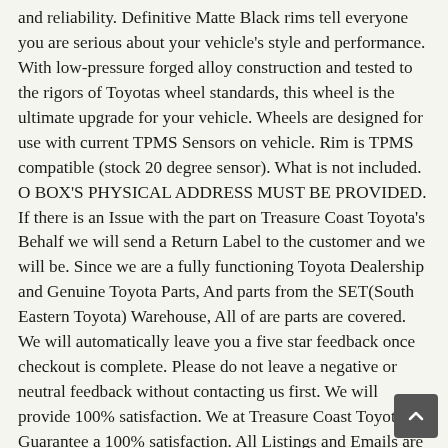and reliability. Definitive Matte Black rims tell everyone you are serious about your vehicle's style and performance. With low-pressure forged alloy construction and tested to the rigors of Toyotas wheel standards, this wheel is the ultimate upgrade for your vehicle. Wheels are designed for use with current TPMS Sensors on vehicle. Rim is TPMS compatible (stock 20 degree sensor). What is not included. O BOX'S PHYSICAL ADDRESS MUST BE PROVIDED. If there is an Issue with the part on Treasure Coast Toyota's Behalf we will send a Return Label to the customer and we will be. Since we are a fully functioning Toyota Dealership and Genuine Toyota Parts, And parts from the SET(South Eastern Toyota) Warehouse, All of are parts are covered. We will automatically leave you a five star feedback once checkout is complete. Please do not leave a negative or neutral feedback without contacting us first. We will provide 100% satisfaction. We at Treasure Coast Toyota Guarantee a 100% satisfaction. All Listings and Emails are posted and answered by a Toyota certified Parts Specialist in the. Toyota P arts Department. Any Specific questions regarding item will be looked up in Toyota cataloging focused on vehicles original equipment. Treasure Coast Toyota 5101 SE Federal Hwy, Stuart, FL 34997. The item "NEW OEM TOYOTA TACOMA 95-20... TRD TRO MATTE BLACK 4" TRD TRO WHEEL 5716-35...